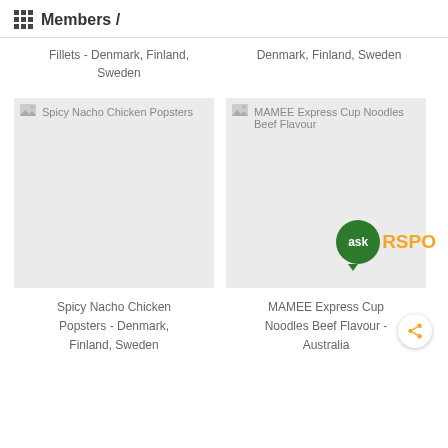Members /
Fillets - Denmark, Finland, Sweden
Denmark, Finland, Sweden
[Figure (photo): Placeholder image for Spicy Nacho Chicken Popsters product]
[Figure (photo): Placeholder image for MAMEE Express Cup Noodles Beef Flavour product]
Spicy Nacho Chicken Popsters - Denmark, Finland, Sweden
MAMEE Express Cup Noodles Beef Flavour - Australia